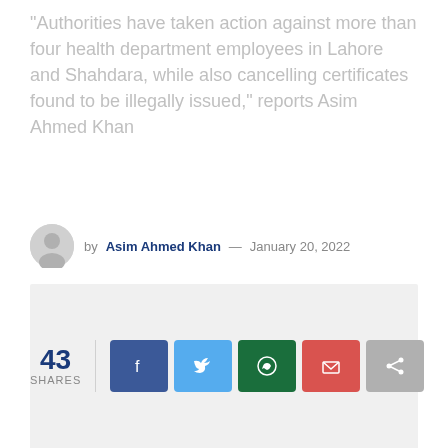"Authorities have taken action against more than four health department employees in Lahore and Shahdara, while also cancelling certificates found to be illegally issued," reports Asim Ahmed Khan
by Asim Ahmed Khan — January 20, 2022
[Figure (other): Gray advertisement placeholder box]
43 SHARES
[Figure (other): Social share buttons: Facebook, Twitter, WhatsApp, Email, Share]